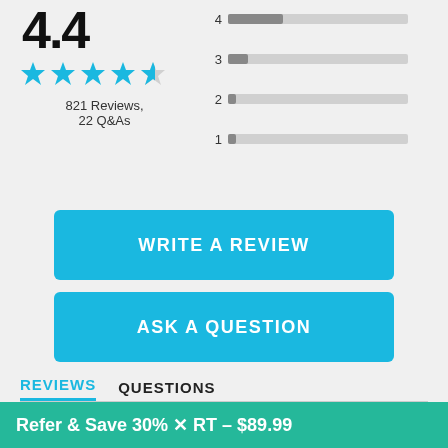4.4
[Figure (other): Star rating: 4 filled cyan stars and 1 half star]
821 Reviews, 22 Q&As
[Figure (bar-chart): Rating distribution]
WRITE A REVIEW
ASK A QUESTION
REVIEWS
QUESTIONS
Filter Reviews
Refer & Save 30% X  RT – $89.99